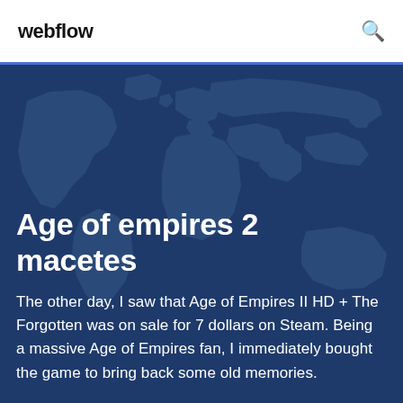webflow
[Figure (illustration): World map illustration with dark blue overlay background used as hero image background]
Age of empires 2 macetes
The other day, I saw that Age of Empires II HD + The Forgotten was on sale for 7 dollars on Steam. Being a massive Age of Empires fan, I immediately bought the game to bring back some old memories.